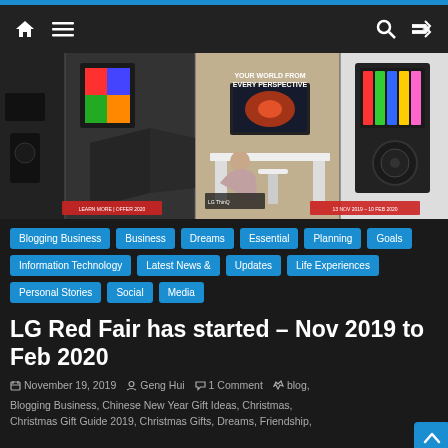Navigation bar with home, menu, search, and shuffle icons
[Figure (photo): LG Red Fair promotional banner showing electronics products including TVs, speakers, monitors and a woman with laptop. Text: YOUR WORLD FROM EVERY PERSPECTIVE. Dates: 13 NOV 2019 – 10 FEB 2020.]
Blogging Business
Business
Dreams
Essential
Planning
Goals
Information Technology
Latest News & Updates
Life Experiences
Personal Stories
Social Media
LG Red Fair has started – Nov 2019 to Feb 2020
November 19, 2019   Geng Hui   1 Comment   blog, Blogging Business, Chinese New Year Gift Ideas, Christmas, Christmas Gift Guide 2019, Christmas Gifts, Dreams, Friendship,